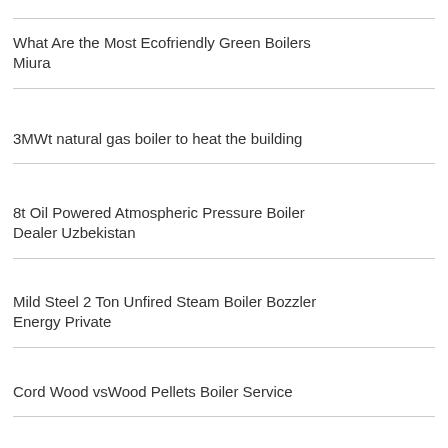What Are the Most Ecofriendly Green Boilers Miura
3MWt natural gas boiler to heat the building
8t Oil Powered Atmospheric Pressure Boiler Dealer Uzbekistan
Mild Steel 2 Ton Unfired Steam Boiler Bozzler Energy Private
Cord Wood vsWood Pellets Boiler Service